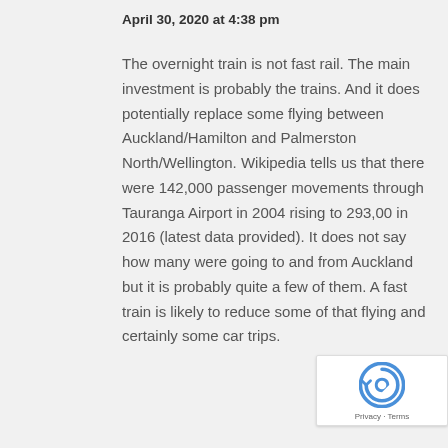April 30, 2020 at 4:38 pm
The overnight train is not fast rail. The main investment is probably the trains. And it does potentially replace some flying between Auckland/Hamilton and Palmerston North/Wellington. Wikipedia tells us that there were 142,000 passenger movements through Tauranga Airport in 2004 rising to 293,00 in 2016 (latest data provided). It does not say how many were going to and from Auckland but it is probably quite a few of them. A fast train is likely to reduce some of that flying and certainly some car trips.